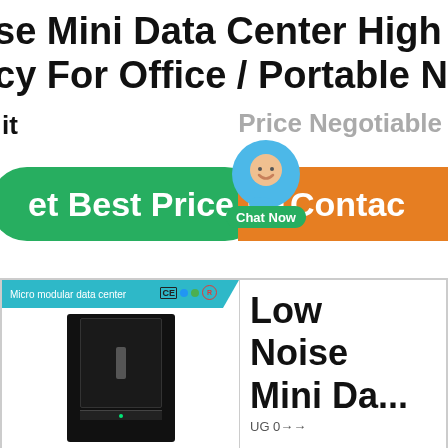se Mini Data Center High Energy cy For Office / Portable Network
it
Price Negotiable
et Best Price
[Figure (illustration): Chat Now bubble button with blue speech bubble icon]
Contact
[Figure (photo): Micro modular data center product image showing a black server rack cabinet with CE and other certification logos]
Low Noise Mini Da...